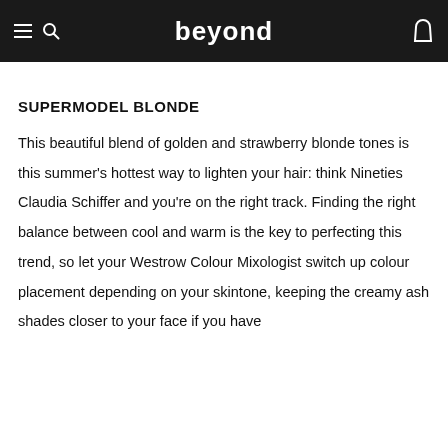beyond
SUPERMODEL BLONDE
This beautiful blend of golden and strawberry blonde tones is this summer's hottest way to lighten your hair: think Nineties Claudia Schiffer and you're on the right track. Finding the right balance between cool and warm is the key to perfecting this trend, so let your Westrow Colour Mixologist switch up colour placement depending on your skintone, keeping the creamy ash shades closer to your face if you have